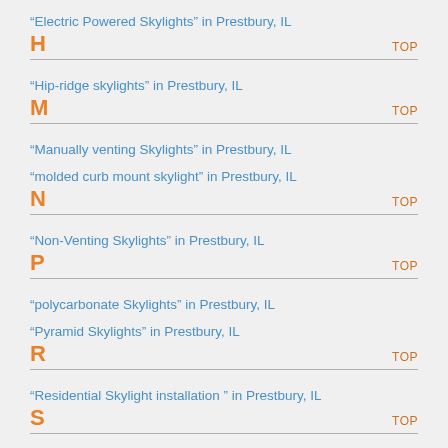"Electric Powered Skylights" in Prestbury, IL
H   TOP
"Hip-ridge skylights" in Prestbury, IL
M   TOP
"Manually venting Skylights" in Prestbury, IL
"molded curb mount skylight" in Prestbury, IL
N   TOP
"Non-Venting Skylights" in Prestbury, IL
P   TOP
"polycarbonate Skylights" in Prestbury, IL
"Pyramid Skylights" in Prestbury, IL
R   TOP
"Residential Skylight installation " in Prestbury, IL
S   TOP